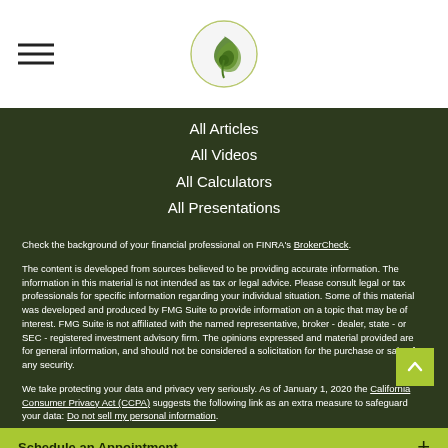Navigation header with logo
All Articles
All Videos
All Calculators
All Presentations
Check the background of your financial professional on FINRA's BrokerCheck.
The content is developed from sources believed to be providing accurate information. The information in this material is not intended as tax or legal advice. Please consult legal or tax professionals for specific information regarding your individual situation. Some of this material was developed and produced by FMG Suite to provide information on a topic that may be of interest. FMG Suite is not affiliated with the named representative, broker - dealer, state - or SEC - registered investment advisory firm. The opinions expressed and material provided are for general information, and should not be considered a solicitation for the purchase or sale of any security.
We take protecting your data and privacy very seriously. As of January 1, 2020 the California Consumer Privacy Act (CCPA) suggests the following link as an extra measure to safeguard your data: Do not sell my personal information.
Schedule an Appointment